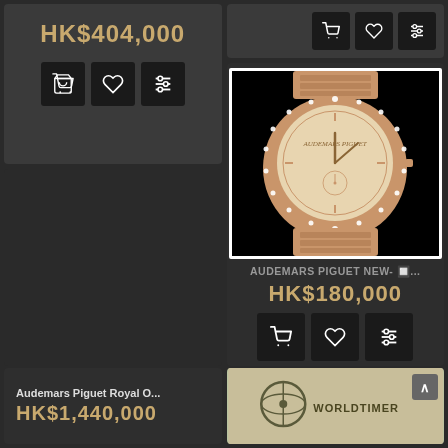HK$404,000
[Figure (screenshot): Three icon buttons: shopping cart, heart/wishlist, and settings/filter sliders on dark background]
[Figure (screenshot): Three icon buttons: shopping cart, heart/wishlist, and settings/filter sliders on dark background (top right)]
[Figure (photo): Audemars Piguet luxury watch with rose gold bracelet, diamond-studded bezel, and cream dial, displayed against black background]
AUDEMARS PIGUET NEW- 🔲...
HK$180,000
[Figure (screenshot): Three icon buttons: shopping cart, heart/wishlist, and settings/filter sliders]
Audemars Piguet Royal O...
HK$1,440,000
[Figure (photo): World Timer watch brand display with logo on light green/beige background]